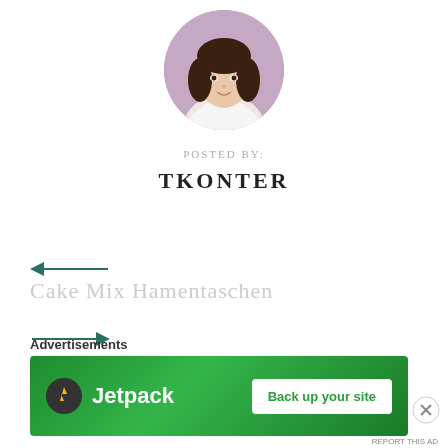[Figure (photo): Circular profile photo of a young woman with dark hair wearing a white turtleneck, against a purple/mauve background]
POSTED BY:
TKONTER
[Figure (illustration): Left-pointing arrow in dark teal/green color]
Cake Mix Hamentaschen
[Figure (illustration): Right-pointing arrow in dark teal/green color]
Loaded Baked Potato Sausage Rice
Advertisements
[Figure (screenshot): Green advertisement banner for Jetpack with lightning bolt logo and 'Back up your site' button]